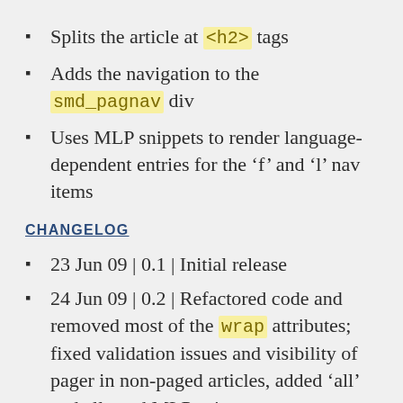Splits the article at <h2> tags
Adds the navigation to the smd_pagnav div
Uses MLP snippets to render language-dependent entries for the ‘f’ and ‘l’ nav items
CHANGELOG
23 Jun 09 | 0.1 | Initial release
24 Jun 09 | 0.2 | Refactored code and removed most of the wrap attributes; fixed validation issues and visibility of pager in non-paged articles, added ‘all’ and allowed MLP snippet